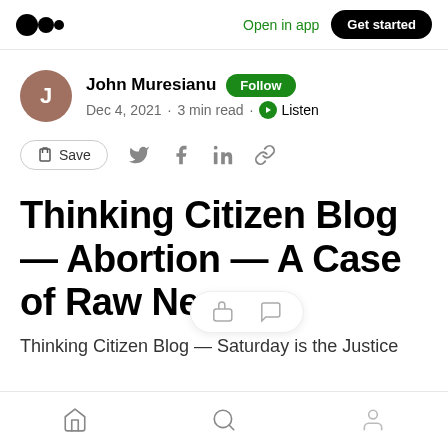Open in app  Get started
John Muresianu · Follow · Dec 4, 2021 · 3 min read · Listen
Save
Thinking Citizen Blog — Abortion — A Case of Raw Nerves
Thinking Citizen Blog — Saturday is the Justice
Home  Search  Profile